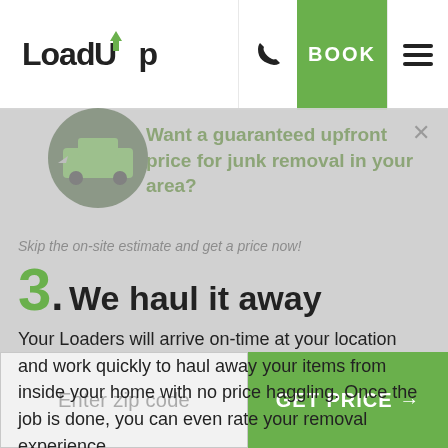[Figure (logo): LoadUp logo with green upward arrow above the U]
BOOK
Want a guaranteed upfront price for junk removal in your area?
Skip the on-site estimate and get a price now!
3. We haul it away
Your Loaders will arrive on-time at your location and work quickly to haul away your items from inside your home with no price haggling. Once the job is done, you can even rate your removal experience.
Enter zip code
GET PRICE →